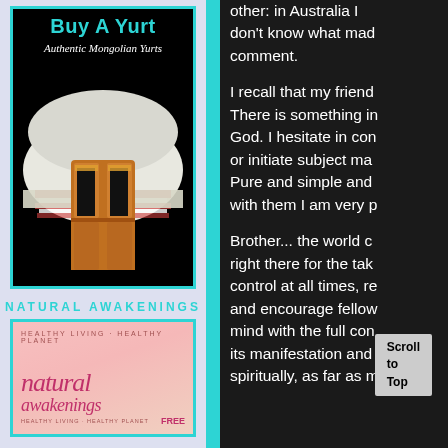[Figure (advertisement): Buy A Yurt advertisement with teal title text, 'Authentic Mongolian Yurts' subtitle in italic white, and a photo of a traditional Mongolian yurt with ornate orange wooden door on black background, framed in teal border]
NATURAL AWAKENINGS
[Figure (advertisement): Natural Awakenings magazine cover ad with pink/salmon gradient background, 'HEALTHY LIVING HEALTHY PLANET' text at top, large italic 'natural awakenings' logo in pink/magenta, tagline and FREE label]
other: in Australia I don't know what made comment.
I recall that my friend There is something in God. I hesitate in com or initiate subject ma Pure and simple and with them I am very p
Brother... the world c right there for the tak control at all times, re and encourage fellow mind with the full con its manifestation and spiritually, as far as m
Scroll to Top